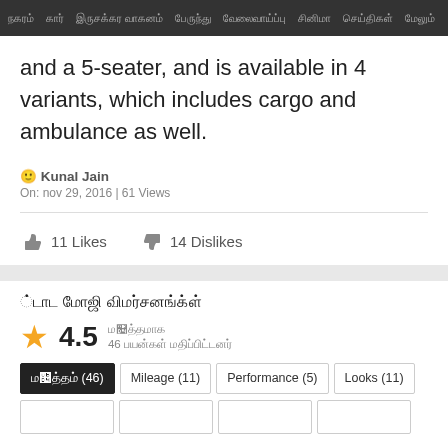நகரம்  கார்  இருசக்கர வாகனம்  பேருந்து  வேலைவாய்ப்பு  சினிமா  செய்திகள்  மேலும்
and a 5-seater, and is available in 4 variants, which includes cargo and ambulance as well.
🙂 Kunal Jain
On: nov 29, 2016 | 61 Views
11 Likes   14 Dislikes
டாடா மேஜிக் விமர்சனங்கள்
★ 4.5  மொத்தமாக
46 பயனர்கள் மதிப்பிட்டனர்
மொத்தம் (46)
Mileage (11)
Performance (5)
Looks (11)